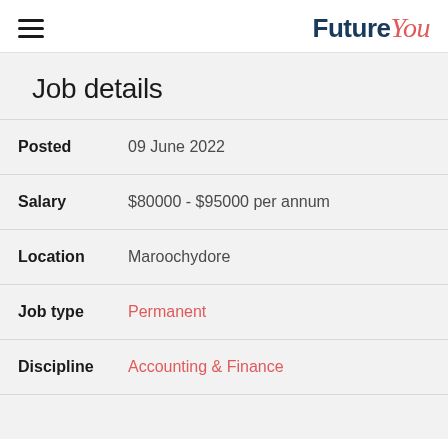FutureYou
Job details
| Field | Value |
| --- | --- |
| Posted | 09 June 2022 |
| Salary | $80000 - $95000 per annum |
| Location | Maroochydore |
| Job type | Permanent |
| Discipline | Accounting & Finance |